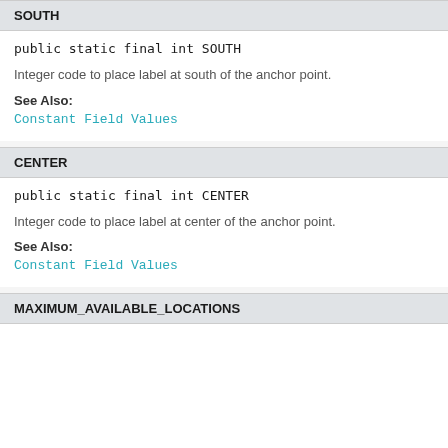SOUTH
public static final int SOUTH
Integer code to place label at south of the anchor point.
See Also:
Constant Field Values
CENTER
public static final int CENTER
Integer code to place label at center of the anchor point.
See Also:
Constant Field Values
MAXIMUM_AVAILABLE_LOCATIONS